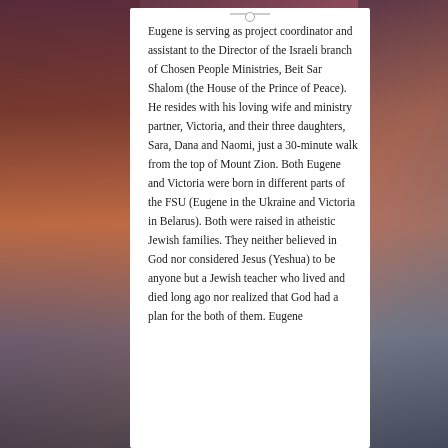Eugene is serving as project coordinator and assistant to the Director of the Israeli branch of Chosen People Ministries, Beit Sar Shalom (the House of the Prince of Peace). He resides with his loving wife and ministry partner, Victoria, and their three daughters, Sara, Dana and Naomi, just a 30-minute walk from the top of Mount Zion. Both Eugene and Victoria were born in different parts of the FSU (Eugene in the Ukraine and Victoria in Belarus). Both were raised in atheistic Jewish families. They neither believed in God nor considered Jesus (Yeshua) to be anyone but a Jewish teacher who lived and died long ago nor realized that God had a plan for the both of them. Eugene